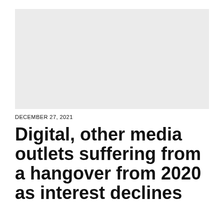[Figure (other): Gray placeholder image area at top of article page]
DECEMBER 27, 2021
Digital, other media outlets suffering from a hangover from 2020 as interest declines